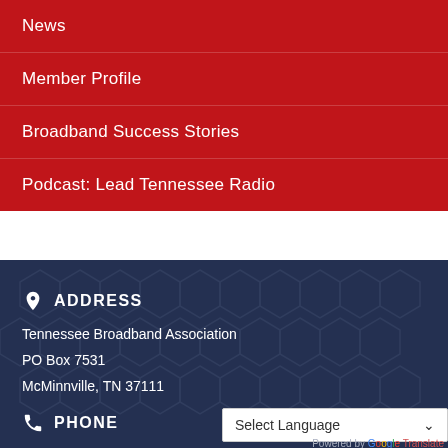News
Member Profile
Broadband Success Stories
Podcast: Lead Tennessee Radio
ADDRESS
Tennessee Broadband Association
PO Box 7531
McMinnville, TN 37111
PHONE
Select Language
Powered by Google Translate